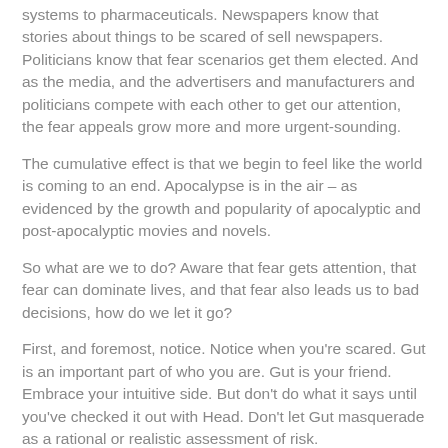systems to pharmaceuticals. Newspapers know that stories about things to be scared of sell newspapers. Politicians know that fear scenarios get them elected. And as the media, and the advertisers and manufacturers and politicians compete with each other to get our attention, the fear appeals grow more and more urgent-sounding.
The cumulative effect is that we begin to feel like the world is coming to an end. Apocalypse is in the air – as evidenced by the growth and popularity of apocalyptic and post-apocalyptic movies and novels.
So what are we to do? Aware that fear gets attention, that fear can dominate lives, and that fear also leads us to bad decisions, how do we let it go?
First, and foremost, notice. Notice when you're scared. Gut is an important part of who you are. Gut is your friend. Embrace your intuitive side. But don't do what it says until you've checked it out with Head. Don't let Gut masquerade as a rational or realistic assessment of risk.